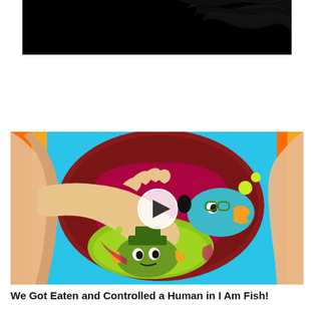[Figure (screenshot): Dark/black image with subtle swirling wave-like light patterns visible in the upper right, resembling a video thumbnail with a dark background.]
[Figure (illustration): Colorful cartoon illustration showing animated fish characters inside a circular stomach/bowl scene. A large hand reaches in from the left. The background is bright blue, orange and yellow. A white play button circle overlay is visible in the center of the image. The fish characters have large eyes and expressive faces. The scene is vibrant with magenta, lime green, teal, and dark red colors.]
We Got Eaten and Controlled a Human in I Am Fish!